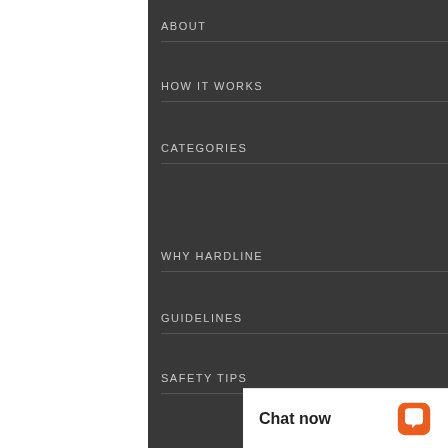ABOUT
HOW IT WORKS
CATEGORIES
WHY HARDLINE
GUIDELINES
SAFETY TIPS
OFFERS
MOBILE APP
FREE TRIAL INFORMATION
PAYMENT OPTIONS
Chat now